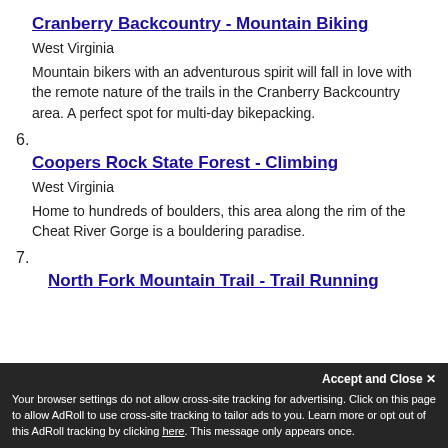Cranberry Backcountry - Mountain Biking
West Virginia
Mountain bikers with an adventurous spirit will fall in love with the remote nature of the trails in the Cranberry Backcountry area. A perfect spot for multi-day bikepacking.
6.
Coopers Rock State Forest - Climbing
West Virginia
Home to hundreds of boulders, this area along the rim of the Cheat River Gorge is a bouldering paradise.
7.
North Fork Mountain Trail - Trail Running
Your browser settings do not allow cross-site tracking for advertising. Click on this page to allow AdRoll to use cross-site tracking to tailor ads to you. Learn more or opt out of this AdRoll tracking by clicking here. This message only appears once.